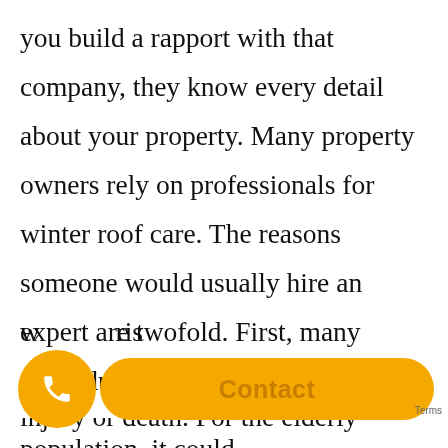you build a rapport with that company, they know every detail about your property. Many property owners rely on professionals for winter roof care. The reasons someone would usually hire an expert are twofold. First, many individuals don't bring the same kind of knowledge about roofs when compared to a specialist. Secondly, working in a roof is dangerous work. Many of us don't w[ant to] ris[k] injury or death. For the elderly population, it could